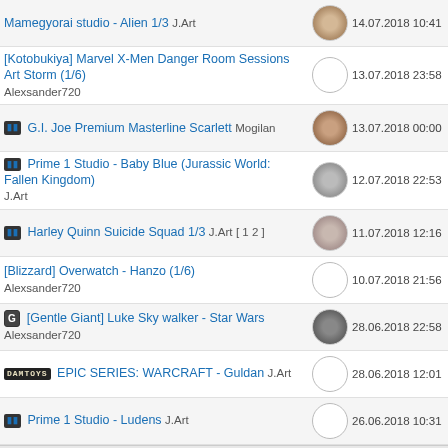Mamegyorai studio - Alien 1/3  J.Art  14.07.2018 10:41  J.Art
[Kotobukiya] Marvel X-Men Danger Room Sessions Art Storm (1/6)  Alexsander720  13.07.2018 23:58  Alexsander720
G.I. Joe Premium Masterline Scarlett  Mogilan  13.07.2018 00:00  Mogilan
Prime 1 Studio - Baby Blue (Jurassic World: Fallen Kingdom)  J.Art  12.07.2018 22:53  J.Art
Harley Quinn Suicide Squad 1/3  J.Art  [ 1 2 ]  11.07.2018 12:16  J.Art
[Blizzard] Overwatch - Hanzo (1/6)  Alexsander720  10.07.2018 21:56  Alexsander720
[Gentle Giant] Luke Sky walker - Star Wars  Alexsander720  28.06.2018 22:58  REM
DAMTOYS EPIC SERIES: WARCRAFT - Guldan  J.Art  28.06.2018 12:01  Master Dront
Prime 1 Studio - Ludens  J.Art  26.06.2018 10:31  Master Dront
Страница:  «  1  ...  58  59  60  61  62  ...  105  »
Форум Art and Toys (RUS)
Дата Создания MMXIV
Keep on Rolling с 2014